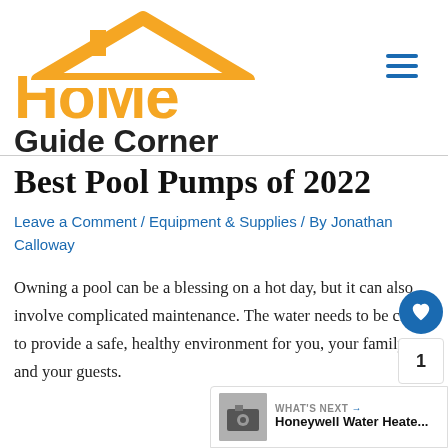[Figure (logo): Home Guide Corner logo with house roof icon in gold/yellow and bold black text]
Best Pool Pumps of 2022
Leave a Comment / Equipment & Supplies / By Jonathan Calloway
Owning a pool can be a blessing on a hot day, but it can also involve complicated maintenance. The water needs to be clean to provide a safe, healthy environment for you, your family, and your guests.